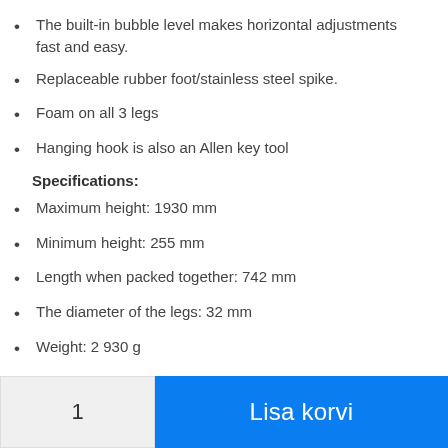The built-in bubble level makes horizontal adjustments fast and easy.
Replaceable rubber foot/stainless steel spike.
Foam on all 3 legs
Hanging hook is also an Allen key tool
Specifications:
Maximum height: 1930 mm
Minimum height: 255 mm
Length when packed together: 742 mm
The diameter of the legs: 32 mm
Weight: 2 930 g
The maximum weight it can hold: 4 kg
Material: carbon fiber
1
Lisa korvi